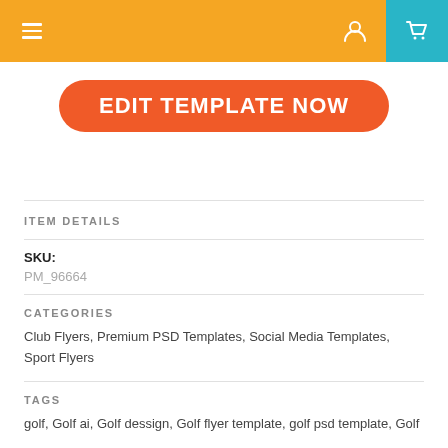Navigation bar with hamburger menu, user icon, and cart icon
[Figure (other): Orange rounded rectangle button with white bold text reading EDIT TEMPLATE NOW]
ITEM DETAILS
SKU: PM_96664
CATEGORIES
Club Flyers, Premium PSD Templates, Social Media Templates, Sport Flyers
TAGS
golf, Golf ai, Golf dessign, Golf flyer template, golf psd template, Golf